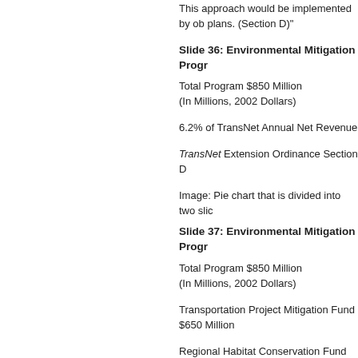This approach would be implemented by ob plans. (Section D)"
Slide 36: Environmental Mitigation Progr
Total Program $850 Million
(In Millions, 2002 Dollars)
6.2% of TransNet Annual Net Revenue
TransNet Extension Ordinance Section D
Image: Pie chart that is divided into two slic
Slide 37: Environmental Mitigation Progr
Total Program $850 Million
(In Millions, 2002 Dollars)
Transportation Project Mitigation Fund
$650 Million
Regional Habitat Conservation Fund
$200 Million
Plus up to $30 million in financing costs for
TransNet Extension Ordinance EMP Princip
Image: The same pie chart as in the previous Transportation Project Mitigation slice has b the Regional Habitat Conservation Fund ($2